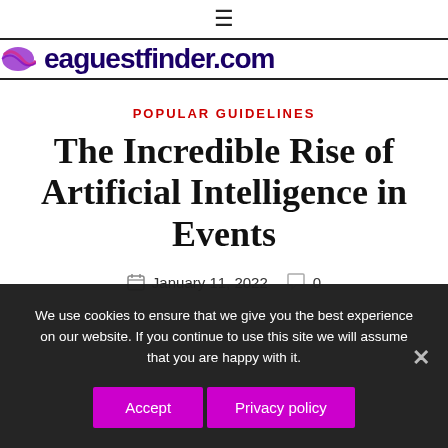☰
[Figure (logo): Website logo showing a purple swirl icon and the text 'eaguestfinder.com' in dark blue bold font]
POPULAR GUIDELINES
The Incredible Rise of Artificial Intelligence in Events
January 11, 2022   0
We use cookies to ensure that we give you the best experience on our website. If you continue to use this site we will assume that you are happy with it.
Accept   Privacy policy